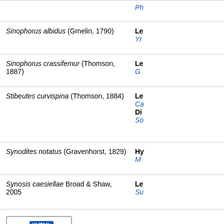Sinophorus albidus (Gmelin, 1790) — Le... Yr...
Sinophorus crassifemur (Thomson, 1887) — Le... G...
Stibeutes curvispina (Thomson, 1884) — Le... Ca... Di... So...
Synodites notatus (Gravenhorst, 1829) — Hy... M...
Synosis caesiellae Broad & Shaw, 2005 — Le... Su...
[Figure (logo): W3C XHTML 1.0 validation badge]
Last updated 12-Jul-2...